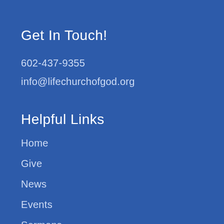Get In Touch!
602-437-9355
info@lifechurchofgod.org
Helpful Links
Home
Give
News
Events
Sermons